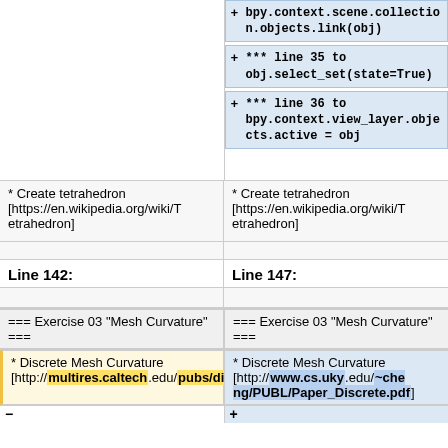bpy.context.scene.collection.objects.link(obj)
*** line 35 to obj.select_set(state=True)
*** line 36 to bpy.context.view_layer.objects.active = obj
* Create tetrahedron [https://en.wikipedia.org/wiki/Tetrahedron]
* Create tetrahedron [https://en.wikipedia.org/wiki/Tetrahedron]
Line 142:
Line 147:
=== Exercise 03 "Mesh Curvature" ===
=== Exercise 03 "Mesh Curvature" ===
* Discrete Mesh Curvature [http://multires.caltech.edu/pubs/diffGeoOps.pdf]
* Discrete Mesh Curvature [http://www.cs.uky.edu/~cheng/PUBL/Paper_Discrete.pdf]